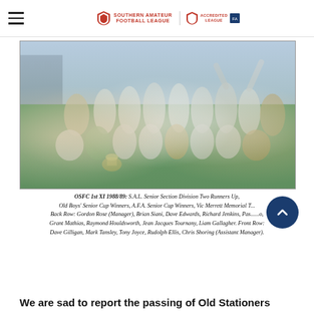Southern Amateur Football League | Accredited League
[Figure (photo): Team photo of OSFC 1st XI 1988/89 football squad celebrating on a grass pitch, players in white shirts and one in green goalkeeper kit, holding a trophy, with coaches in blue and yellow tracksuits on the sides.]
OSFC 1st XI 1988/89: S.A.L. Senior Section Division Two Runners Up, Old Boys' Senior Cup Winners, A.F.A. Senior Cup Winners, Vic Merrett Memorial Trophy. Back Row: Gordon Rose (Manager), Brian Siani, Dave Edwards, Richard Jenkins, Pasquale Lo, Grant Mathias, Raymond Houldsworth, Jean Jacques Tournany, Liam Gallagher. Front Row: Dave Gilligan, Mark Tansley, Tony Joyce, Rudolph Ellis, Chris Shoring (Assistant Manager).
We are sad to report the passing of Old Stationers